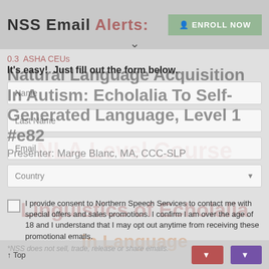NSS Email Alerts:
0.3 ASHA CEUs
It's easy! Just fill out the form below.
Natural Language Acquisition In Autism: Echolalia To Self-Generated Language, Level 1 #e82
Presenter: Marge Blanc, MA, CCC-SLP
I provide consent to Northern Speech Services to contact me with special offers and sales promotions. I confirm I am over the age of 18 and I understand that I may opt out anytime from receiving these promotional emails.
*NSS does not sell, trade, release or share emails.
↑ Top